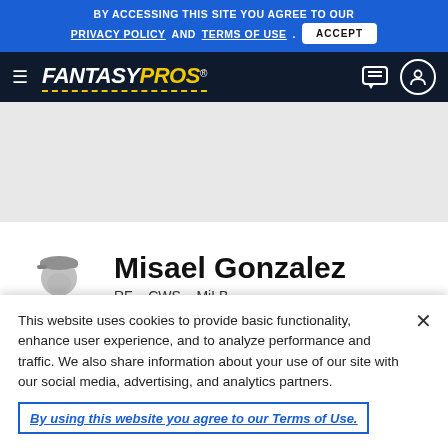BY ACCESSING THIS SITE YOU AGREE TO OUR PRIVACY POLICY AND TERMS OF USE. ACCEPT
[Figure (logo): FantasyPros logo with hamburger menu and nav icons on dark navy background]
[Figure (photo): Gray silhouette avatar of a baseball player with cap]
Misael Gonzalez
RF - CWS - MiLB
This website uses cookies to provide basic functionality, enhance user experience, and to analyze performance and traffic. We also share information about your use of our site with our social media, advertising, and analytics partners.
By using this website you agree to our Terms of Use.